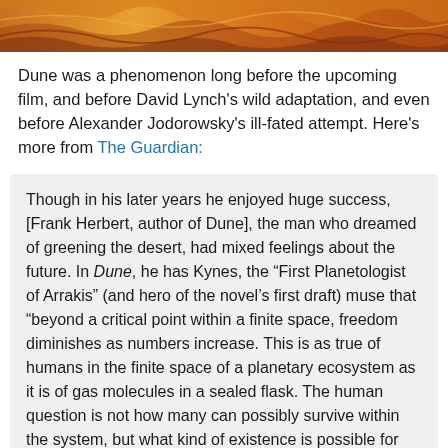[Figure (illustration): Decorative top banner image with orange, yellow, and brown wavy desert-like pattern]
Dune was a phenomenon long before the upcoming film, and before David Lynch's wild adaptation, and even before Alexander Jodorowsky's ill-fated attempt. Here's more from The Guardian:
Though in his later years he enjoyed huge success, [Frank Herbert, author of Dune], the man who dreamed of greening the desert, had mixed feelings about the future. In Dune, he has Kynes, the “First Planetologist of Arrakis” (and hero of the novel’s first draft) muse that “beyond a critical point within a finite space, freedom diminishes as numbers increase. This is as true of humans in the finite space of a planetary ecosystem as it is of gas molecules in a sealed flask. The human question is not how many can possibly survive within the system, but what kind of existence is possible for those who